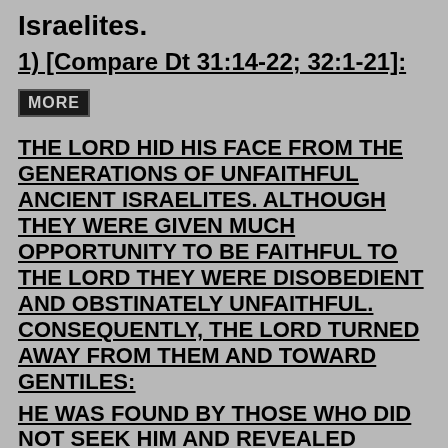Israelites.
1) [Compare Dt 31:14-22; 32:1-21]:
MORE
THE LORD HID HIS FACE FROM THE GENERATIONS OF UNFAITHFUL ANCIENT ISRAELITES. ALTHOUGH THEY WERE GIVEN MUCH OPPORTUNITY TO BE FAITHFUL TO THE LORD THEY WERE DISOBEDIENT AND OBSTINATELY UNFAITHFUL. CONSEQUENTLY, THE LORD TURNED AWAY FROM THEM AND TOWARD GENTILES:
HE WAS FOUND BY THOSE WHO DID NOT SEEK HIM AND REVEALED